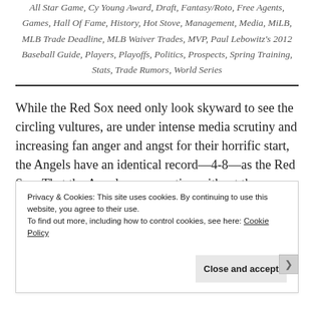All Star Game, Cy Young Award, Draft, Fantasy/Roto, Free Agents, Games, Hall Of Fame, History, Hot Stove, Management, Media, MiLB, MLB Trade Deadline, MLB Waiver Trades, MVP, Paul Lebowitz's 2012 Baseball Guide, Players, Playoffs, Politics, Prospects, Spring Training, Stats, Trade Rumors, World Series
While the Red Sox need only look skyward to see the circling vultures, are under intense media scrutiny and increasing fan anger and angst for their horrific start, the Angels have an identical record—4-8—as the Red Sox. That the Angels are operating without the open
Privacy & Cookies: This site uses cookies. By continuing to use this website, you agree to their use. To find out more, including how to control cookies, see here: Cookie Policy
Close and accept